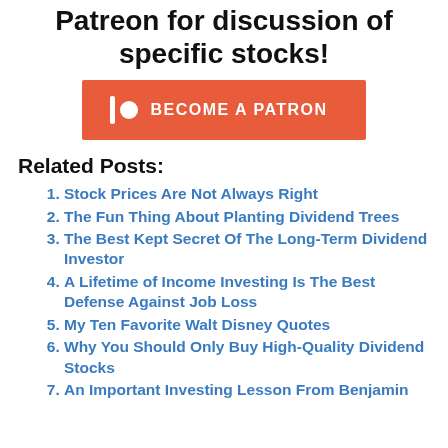Patreon for discussion of specific stocks!
[Figure (other): Orange 'Become a Patron' button with Patreon logo icon (vertical bar and circle) on left side]
Related Posts:
Stock Prices Are Not Always Right
The Fun Thing About Planting Dividend Trees
The Best Kept Secret Of The Long-Term Dividend Investor
A Lifetime of Income Investing Is The Best Defense Against Job Loss
My Ten Favorite Walt Disney Quotes
Why You Should Only Buy High-Quality Dividend Stocks
An Important Investing Lesson From Benjamin